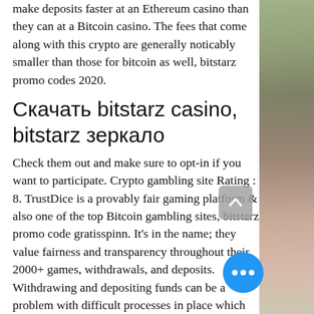make deposits faster at an Ethereum casino than they can at a Bitcoin casino. The fees that come along with this crypto are generally noticably smaller than those for bitcoin as well, bitstarz promo codes 2020.
Скачать bitstarz casino, bitstarz зеркало
Check them out and make sure to opt-in if you want to participate. Crypto gambling site Rating : 8. TrustDice is a provably fair gaming platform & also one of the top Bitcoin gambling sites, bitstarz promo code gratisspinn. It's in the name; they value fairness and transparency throughout their 2000+ games, withdrawals, and deposits. Withdrawing and depositing funds can be a problem with difficult processes in place which interrupts play time in the casino, bitstarz promo code gratisspinn. ZenSp... a peer-to-peer digital sports betting.